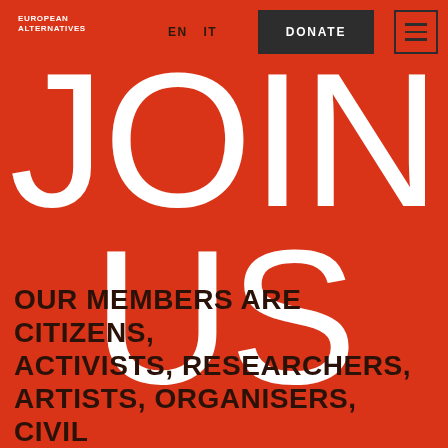EUROPEAN ALTERNATIVES
EN   IT
DONATE
JOIN US
OUR MEMBERS ARE CITIZENS, ACTIVISTS, RESEARCHERS, ARTISTS, ORGANISERS, CIVIL